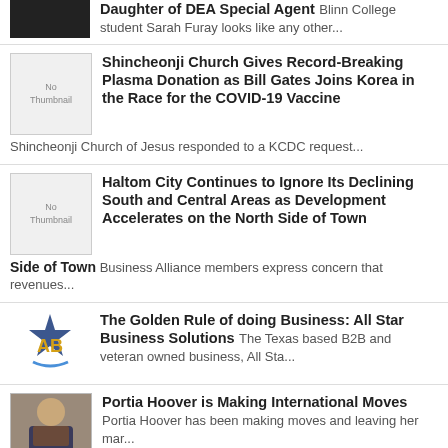[Figure (photo): Dark thumbnail image for DEA Special Agent article]
Daughter of DEA Special Agent Blinn College student Sarah Furay looks like any other...
[Figure (photo): No Thumbnail placeholder image]
Shincheonji Church Gives Record-Breaking Plasma Donation as Bill Gates Joins Korea in the Race for the COVID-19 Vaccine
Shincheonji Church of Jesus responded to a KCDC request...
[Figure (photo): No Thumbnail placeholder image]
Haltom City Continues to Ignore Its Declining South and Central Areas as Development Accelerates on the North Side of Town
Business Alliance members express concern that revenues...
[Figure (logo): All Star Business Solutions logo with star and AB letters]
The Golden Rule of doing Business: All Star Business Solutions
The Texas based B2B and veteran owned business, All Sta...
[Figure (photo): Photo of Portia Hoover]
Portia Hoover is Making International Moves
Portia Hoover has been making moves and leaving her mar...
Two Free Museums in Haltom City